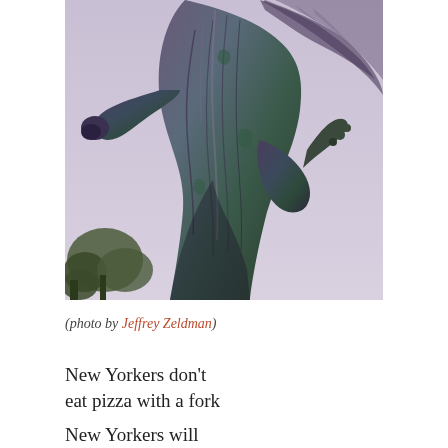[Figure (photo): Close-up photograph of a dark bronze statue of a robed winged figure (angel or deity), photographed from below against a light purple-gray sky, with trees visible in the lower left corner. The figure's torso and arms are prominent, with detailed drapery.]
(photo by Jeffrey Zeldman)
New Yorkers don't eat pizza with a fork
New Yorkers will